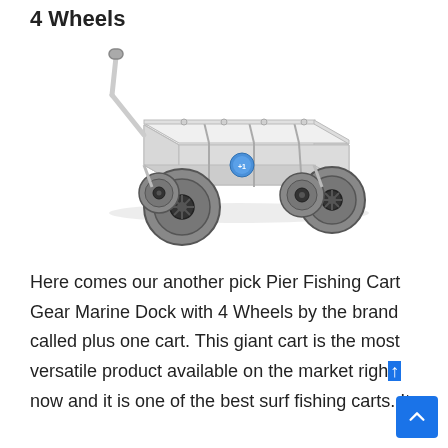4 Wheels
[Figure (photo): An aluminum beach/fishing wagon cart with four large gray wheels and a pull handle, shown on a white background.]
Here comes our another pick Pier Fishing Cart Gear Marine Dock with 4 Wheels by the brand called plus one cart. This giant cart is the most versatile product available on the market right now and it is one of the best surf fishing carts. It